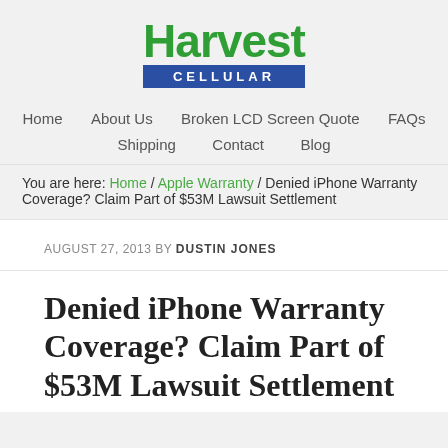[Figure (logo): Harvest Cellular logo with green text and blue bar]
Home | About Us | Broken LCD Screen Quote | FAQs | Shipping | Contact | Blog
You are here: Home / Apple Warranty / Denied iPhone Warranty Coverage? Claim Part of $53M Lawsuit Settlement
AUGUST 27, 2013 BY DUSTIN JONES
Denied iPhone Warranty Coverage? Claim Part of $53M Lawsuit Settlement